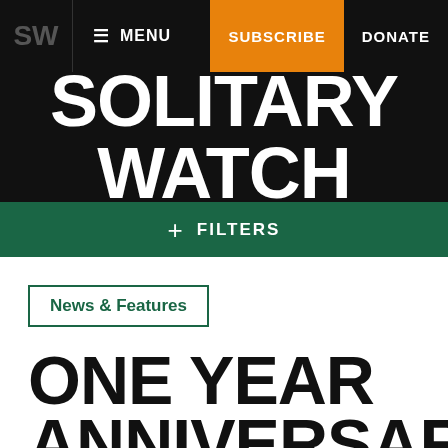SW  MENU  SUBSCRIBE  DONATE
SOLITARY WATCH
+ FILTERS
News & Features
ONE YEAR ANNIVERSARY OF